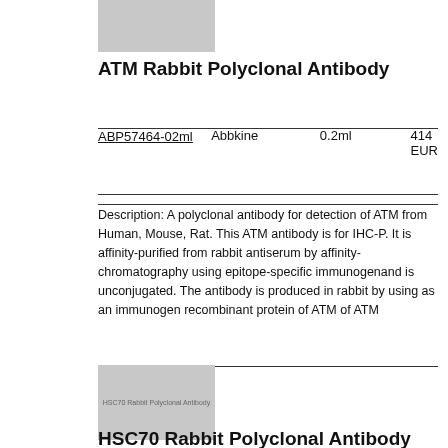[Figure (photo): Product image placeholder (gray rectangle) for ATM Rabbit Polyclonal Antibody]
ATM Rabbit Polyclonal Antibody
| Product ID | Brand | Size | Price |
| --- | --- | --- | --- |
| ABP57464-02ml | Abbkine | 0.2ml | 414 EUR |
Description: A polyclonal antibody for detection of ATM from Human, Mouse, Rat. This ATM antibody is for IHC-P. It is affinity-purified from rabbit antiserum by affinity-chromatography using epitope-specific immunogenand is unconjugated. The antibody is produced in rabbit by using as an immunogen recombinant protein of ATM of ATM
[Figure (photo): Product image placeholder (gray rectangle) for HSC70 Rabbit Polyclonal Antibody, with label text visible]
HSC70 Rabbit Polyclonal Antibody